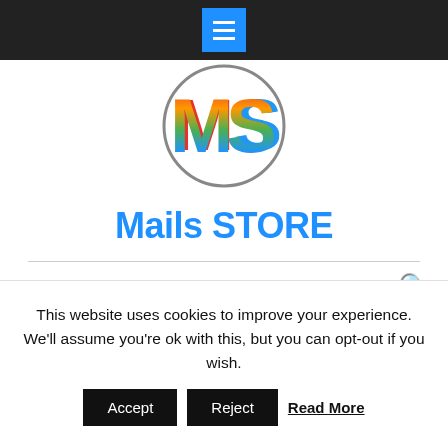Navigation bar with hamburger menu button
[Figure (logo): Circular logo with colorful rainbow-striped letters MS inside a gray circle outline]
Mails STORE
Internists Email List | D -Level Executives Email List And Many More
Customize Your Medical and Health
This website uses cookies to improve your experience. We'll assume you're ok with this, but you can opt-out if you wish.
Accept  Reject  Read More